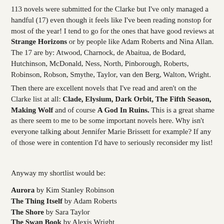113 novels were submitted for the Clarke but I've only managed a handful (17) even though it feels like I've been reading nonstop for most of the year! I tend to go for the ones that have good reviews at Strange Horizons or by people like Adam Roberts and Nina Allan. The 17 are by: Atwood, Charnock, de Abaitua, de Bodard, Hutchinson, McDonald, Ness, North, Pinborough, Roberts, Robinson, Robson, Smythe, Taylor, van den Berg, Walton, Wright.
Then there are excellent novels that I've read and aren't on the Clarke list at all: Clade, Elysium, Dark Orbit, The Fifth Season, Making Wolf and of course A God In Ruins. This is a great shame as there seem to me to be some important novels here. Why isn't everyone talking about Jennifer Marie Brissett for example? If any of those were in contention I'd have to seriously reconsider my list!
Anyway my shortlist would be:
Aurora by Kim Stanley Robinson
The Thing Itself by Adam Roberts
The Shore by Sara Taylor
The Swan Book by Alexis Wright